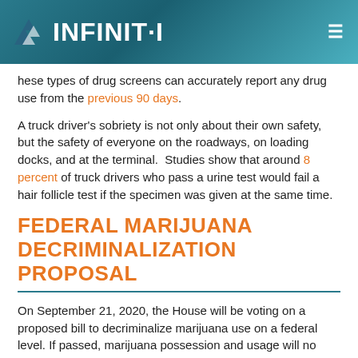INFINIT-I
These types of drug screens can accurately report any drug use from the previous 90 days.
A truck driver's sobriety is not only about their own safety, but the safety of everyone on the roadways, on loading docks, and at the terminal. Studies show that around 8 percent of truck drivers who pass a urine test would fail a hair follicle test if the specimen was given at the same time.
FEDERAL MARIJUANA DECRIMINALIZATION PROPOSAL
On September 21, 2020, the House will be voting on a proposed bill to decriminalize marijuana use on a federal level. If passed, marijuana possession and usage will no longer be classified as a felony.